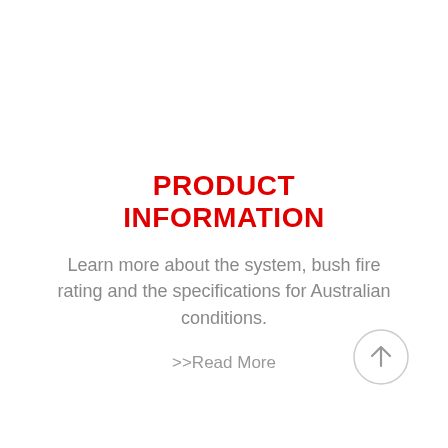PRODUCT INFORMATION
Learn more about the system, bush fire rating and the specifications for Australian conditions.
>>Read More
[Figure (illustration): A circular button with an upward-pointing arrow icon, used as a scroll-to-top or navigation element.]